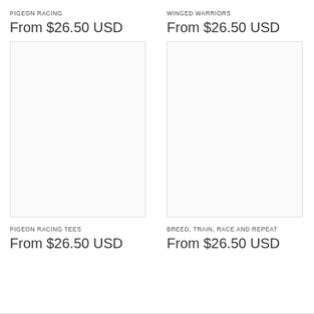PIGEON RACING
From $26.50 USD
[Figure (photo): Product image placeholder for Pigeon Racing]
WINGED WARRIORS
From $26.50 USD
[Figure (photo): Product image placeholder for Winged Warriors]
PIGEON RACING TEES
From $26.50 USD
BREED, TRAIN, RACE AND REPEAT
From $26.50 USD